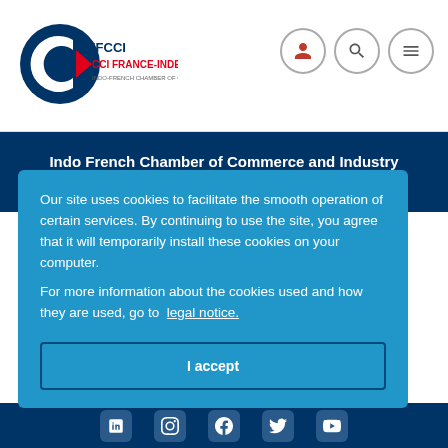[Figure (logo): IFCCI CCI France-Inde Indo-French Chamber of Commerce logo]
Indo French Chamber of Commerce and Industry
Ador House, Plot/CS No.34, 6-K,
Our site uses cookies to facilitate the smooth operation of certain services. By continuing to use the site, you agree that it will temporarily install these cookies on your computer.
For more information about the cookies used and how they are used, go to legal notice.
I accept